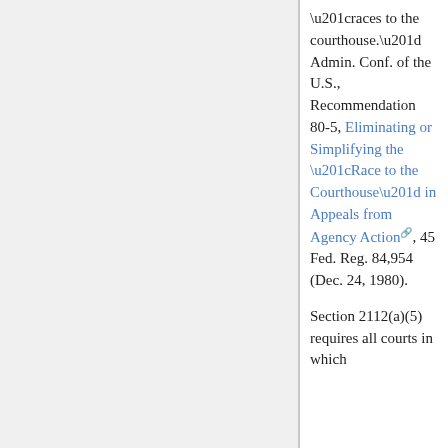“races to the courthouse.” Admin. Conf. of the U.S., Recommendation 80-5, Eliminating or Simplifying the “Race to the Courthouse” in Appeals from Agency Action, 45 Fed. Reg. 84,954 (Dec. 24, 1980).
Section 2112(a)(5) requires all courts in which